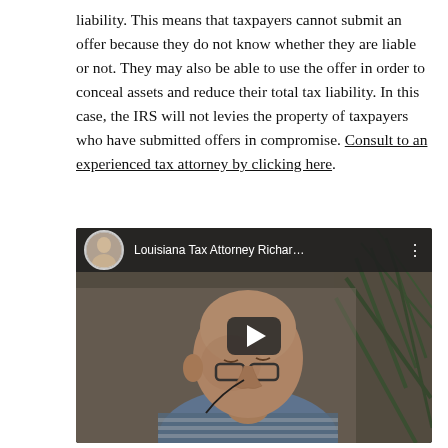liability. This means that taxpayers cannot submit an offer because they do not know whether they are liable or not. They may also be able to use the offer in order to conceal assets and reduce their total tax liability. In this case, the IRS will not levies the property of taxpayers who have submitted offers in compromise. Consult to an experienced tax attorney by clicking here.
[Figure (screenshot): YouTube video thumbnail showing a bald man with glasses, title bar reading 'Louisiana Tax Attorney Richar...' with a channel avatar and play button overlay.]